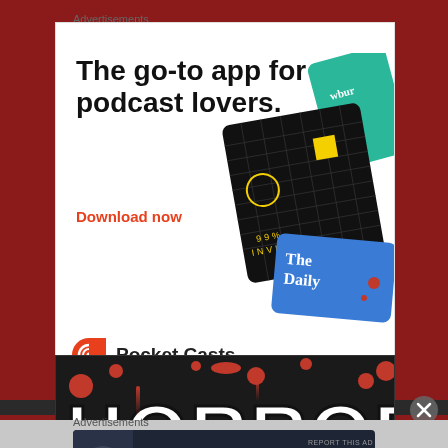Advertisements
[Figure (illustration): Pocket Casts podcast app advertisement showing headline 'The go-to app for podcast lovers.' with a Download now CTA in red, Pocket Casts logo, and podcast card images including 99% Invisible and The Daily]
[Figure (illustration): Horror banner with blood splatter design and 'HORROR' text]
[Figure (other): Close button X icon]
Advertisements
[Figure (illustration): Dark advertisement banner: 'Turn your blog into a money-making online course.' with arrow button and Teachable-style icon]